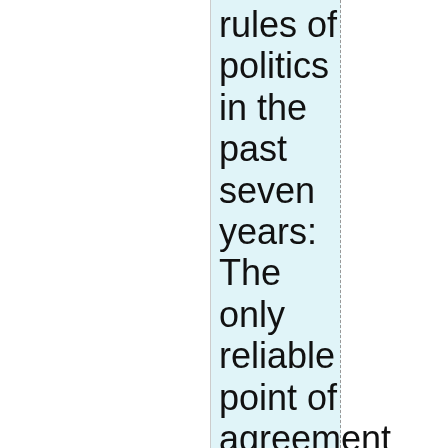rules of politics in the past seven years: The only reliable point of agreement between Trump, the political press, and Democrats